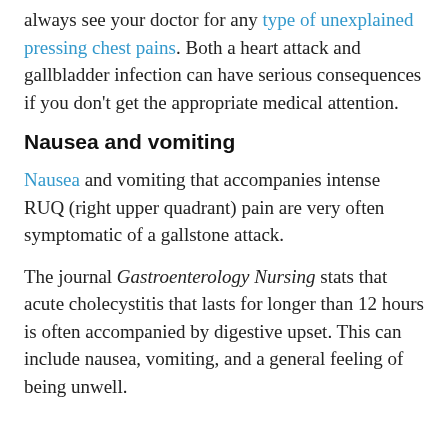always see your doctor for any type of unexplained pressing chest pains. Both a heart attack and gallbladder infection can have serious consequences if you don't get the appropriate medical attention.
Nausea and vomiting
Nausea and vomiting that accompanies intense RUQ (right upper quadrant) pain are very often symptomatic of a gallstone attack.
The journal Gastroenterology Nursing stats that acute cholecystitis that lasts for longer than 12 hours is often accompanied by digestive upset. This can include nausea, vomiting, and a general feeling of being unwell.